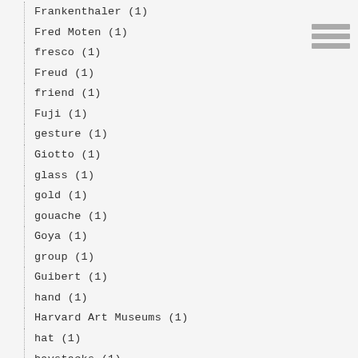Frankenthaler (1)
Fred Moten (1)
fresco (1)
Freud (1)
friend (1)
Fuji (1)
gesture (1)
Giotto (1)
glass (1)
gold (1)
gouache (1)
Goya (1)
group (1)
Guibert (1)
hand (1)
Harvard Art Museums (1)
hat (1)
haystacks (1)
Hemon (1)